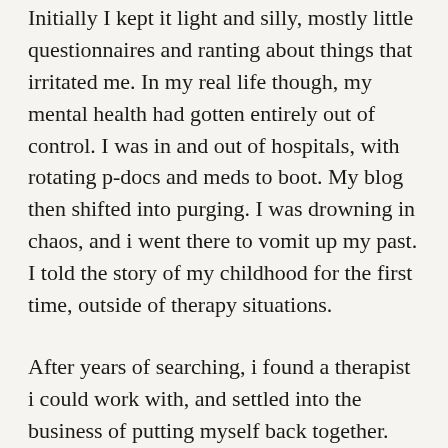Initially I kept it light and silly, mostly little questionnaires and ranting about things that irritated me. In my real life though, my mental health had gotten entirely out of control. I was in and out of hospitals, with rotating p-docs and meds to boot. My blog then shifted into purging. I was drowning in chaos, and i went there to vomit up my past. I told the story of my childhood for the first time, outside of therapy situations.
After years of searching, i found a therapist i could work with, and settled into the business of putting myself back together. When i returned to my blog, i was horrified and mortified at what i found there (i'd been highly dissociated throughout), and promptly